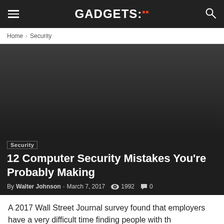GADGETS:
Home › Security
[Figure (photo): Dark gradient hero image area for article]
Security
12 Computer Security Mistakes You're Probably Making
By Walter Johnson - March 7, 2017   1992   0
A 2017 Wall Street Journal survey found that employers have a very difficult time finding people with th…